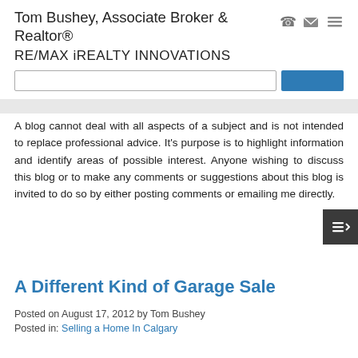Tom Bushey, Associate Broker & Realtor® RE/MAX iREALTY INNOVATIONS
A blog cannot deal with all aspects of a subject and is not intended to replace professional advice. It's purpose is to highlight information and identify areas of possible interest. Anyone wishing to discuss this blog or to make any comments or suggestions about this blog is invited to do so by either posting comments or emailing me directly.
A Different Kind of Garage Sale
Posted on August 17, 2012 by Tom Bushey
Posted in: Selling a Home In Calgary